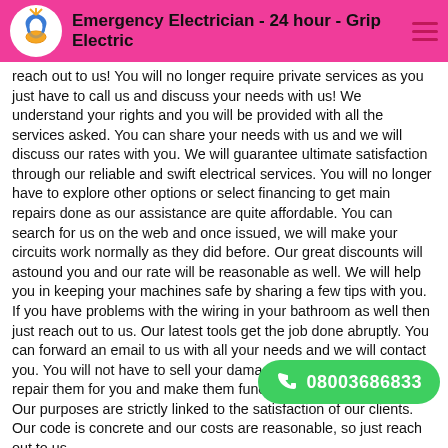Emergency Electrician - 24 hour - Grip Electric
reach out to us! You will no longer require private services as you just have to call us and discuss your needs with us! We understand your rights and you will be provided with all the services asked. You can share your needs with us and we will discuss our rates with you. We will guarantee ultimate satisfaction through our reliable and swift electrical services. You will no longer have to explore other options or select financing to get main repairs done as our assistance are quite affordable. You can search for us on the web and once issued, we will make your circuits work normally as they did before. Our great discounts will astound you and our rate will be reasonable as well. We will help you in keeping your machines safe by sharing a few tips with you. If you have problems with the wiring in your bathroom as well then just reach out to us. Our latest tools get the job done abruptly. You can forward an email to us with all your needs and we will contact you. You will not have to sell your damaged machines as we will repair them for you and make them function the way they used to. Our purposes are strictly linked to the satisfaction of our clients. Our code is concrete and our costs are reasonable, so just reach out to us.
The smoke caused by the fire due to quite uncomfortable so make sure you evade such a situation. Your problems will be resolved with the help of our swift repair
[Figure (other): Green CTA button with phone icon and number 08003686833]